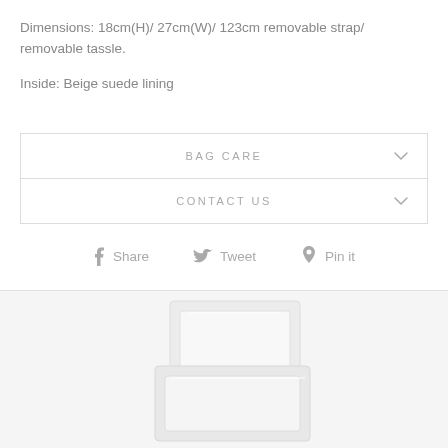Dimensions: 18cm(H)/ 27cm(W)/ 123cm removable strap/ removable tassle.
Inside: Beige suede lining
BAG CARE
CONTACT US
Share  Tweet  Pin it
[Figure (photo): Product image showing white box-like objects on a light background]